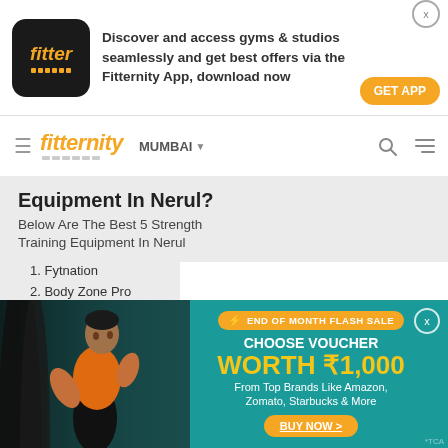[Figure (screenshot): Fitter app icon - dark rounded square with orange 'fitter' text and dot pattern]
Discover and access gyms & studios seamlessly and get best offers via the Fitternity App, download now
GET APP
[Figure (logo): Fitternity logo in orange italic text with dot pattern underneath]
MUMBAI ▼
Equipment In Nerul?
Below Are The Best 5 Strength Training Equipment In Nerul
1. Fytnation
2. Body Zone Pro
[Figure (photo): Man in orange vest doing battle rope exercise in gym]
END OF MONTH FLASH SALE
CHOOSE VOUCHER
WORTH ₹1,000
From Top Brands Like Amazon, Zomato, Starbucks & More
BUY NOW >
*TCA